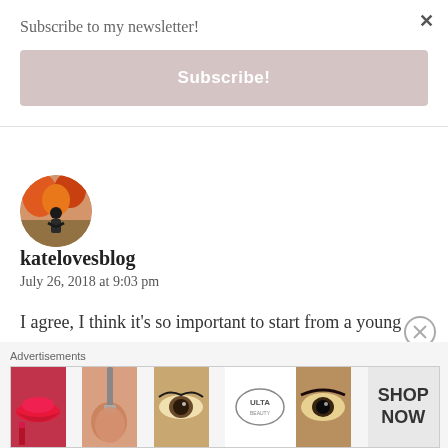Subscribe to my newsletter!
Subscribe!
×
[Figure (photo): Circular avatar photo of a person outdoors with colorful background]
katelovesblog
July 26, 2018 at 9:03 pm
I agree, I think it's so important to start from a young age – especially in the digital world we live
Advertisements
[Figure (photo): Ulta Beauty advertisement banner showing makeup imagery — lips, brush, eyes, Ulta logo, eyes closeup, and SHOP NOW text]
⊗